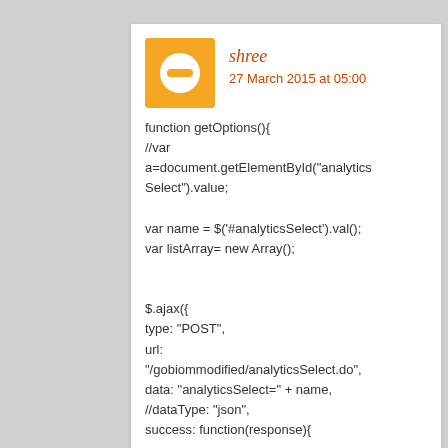shree
27 March 2015 at 05:00
function getOptions(){
//var a=document.getElementById("analyticsSelect").value;

var name = $('#analyticsSelect').val();
var listArray= new Array();


$.ajax({
type: "POST",
url: "/gobiommodified/analyticsSelect.do",
data: "analyticsSelect=" + name,
//dataType: "json",
success: function(response){

var copylist1=JSON.parse(response);